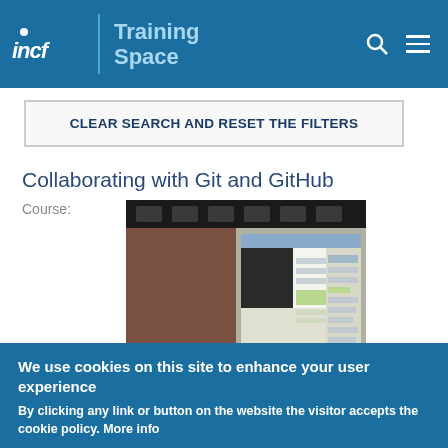INCF Training Space
CLEAR SEARCH AND RESET THE FILTERS
Collaborating with Git and GitHub
Course:
[Figure (screenshot): Screenshot of a computer monitor showing a terminal/code editor with dark panel on left and browser window on right with green highlighted content]
We use cookies on this site to enhance your user experience
By clicking any link or button on the website the visitor accepts the cookie policy. More info